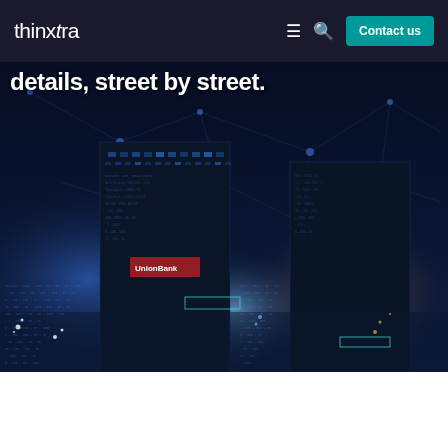thinxtra  ≡  🔍  Contact us
details, street by street.
[Figure (photo): Night cityscape with illuminated skyscrapers overlaid with a digital network/IoT data visualization showing glowing nodes and connection lines, representing smart city IoT coverage data]